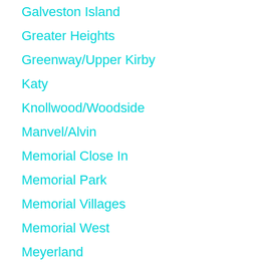Galveston Island
Greater Heights
Greenway/Upper Kirby
Katy
Knollwood/Woodside
Manvel/Alvin
Memorial Close In
Memorial Park
Memorial Villages
Memorial West
Meyerland
Midtown
Missouri City
Montrose
Oak Forest/Garden Oaks
Pearland